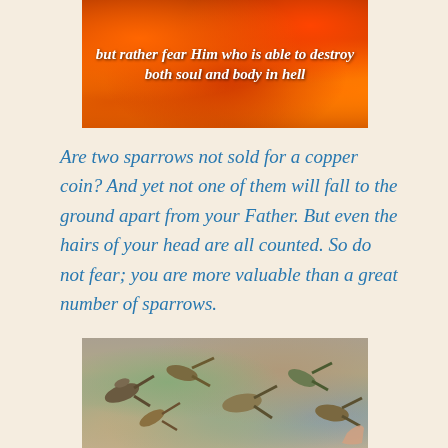[Figure (photo): Fire/flames background image with bold italic white text overlay reading: but rather fear Him who is able to destroy both soul and body in hell]
Are two sparrows not sold for a copper coin? And yet not one of them will fall to the ground apart from your Father. But even the hairs of your head are all counted. So do not fear; you are more valuable than a great number of sparrows.
[Figure (photo): A flock of sparrows and small birds in flight, with a hand visible on the right side, against a grey background]